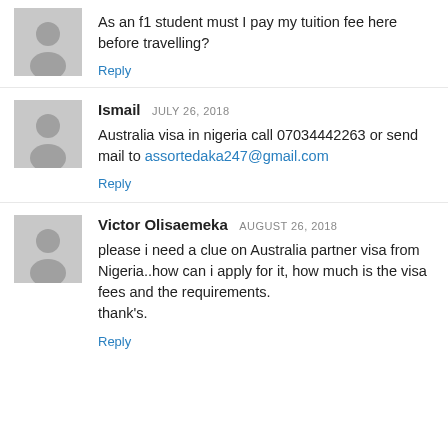As an f1 student must I pay my tuition fee here before travelling?
Reply
Ismail JULY 26, 2018
Australia visa in nigeria call 07034442263 or send mail to assortedaka247@gmail.com
Reply
Victor Olisaemeka AUGUST 26, 2018
please i need a clue on Australia partner visa from Nigeria..how can i apply for it, how much is the visa fees and the requirements.
thanks.
Reply